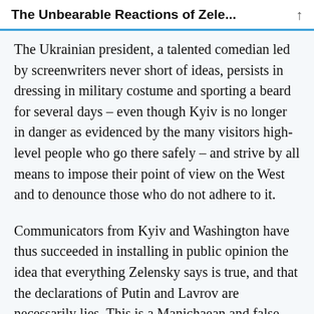The Unbearable Reactions of Zele...
The Ukrainian president, a talented comedian led by screenwriters never short of ideas, persists in dressing in military costume and sporting a beard for several days – even though Kyiv is no longer in danger as evidenced by the many visitors high-level people who go there safely – and strive by all means to impose their point of view on the West and to denounce those who do not adhere to it.
Communicators from Kyiv and Washington have thus succeeded in installing in public opinion the idea that everything Zelensky says is true, and that the declarations of Putin and Lavrov are necessarily lies. This is a Manichaean and false